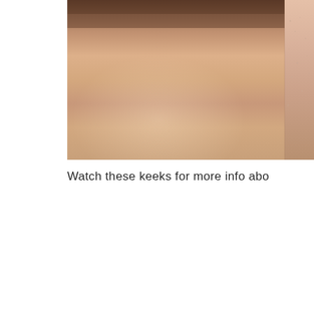[Figure (photo): Close-up photo of human skin/cheek area showing two adjacent skin regions — a main central region with smooth pinkish-beige skin tone and a narrower side strip on the right showing slightly different skin texture. The image appears to be a before/after or comparison of skin conditions.]
Watch these keeks for more info abo